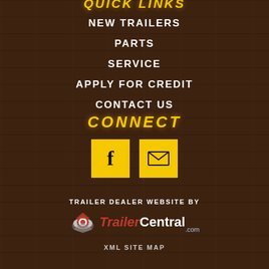QUICK LINKS
NEW TRAILERS
PARTS
SERVICE
APPLY FOR CREDIT
CONTACT US
CONNECT
[Figure (infographic): Facebook icon button (yellow square with f) and email icon button (yellow square with envelope)]
TRAILER DEALER WEBSITE BY
[Figure (logo): TrailerCentral.com logo with rocket/satellite icon in red and white, text Trailer in red italic and Central in white bold]
XML SITE MAP